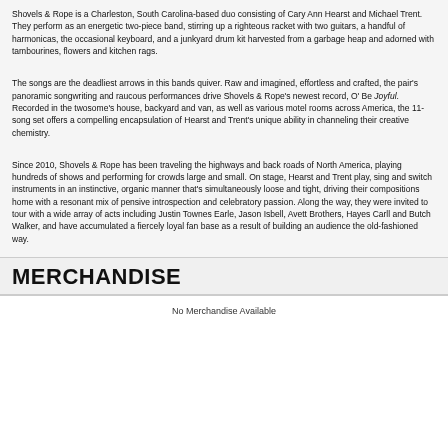Shovels & Rope is a Charleston, South Carolina-based duo consisting of Cary Ann Hearst and Michael Trent. They perform as an energetic two-piece band, stirring up a righteous racket with two guitars, a handful of harmonicas, the occasional keyboard, and a junkyard drum kit harvested from a garbage heap and adorned with tambourines, flowers and kitchen rags.
The songs are the deadliest arrows in this bands quiver. Raw and imagined, effortless and crafted, the pair's panoramic songwriting and raucous performances drive Shovels & Rope's newest record, O' Be Joyful. Recorded in the twosome's house, backyard and van, as well as various motel rooms across America, the 11-song set offers a compelling encapsulation of Hearst and Trent's unique ability in channeling their creative chemistry.
Since 2010, Shovels & Rope has been traveling the highways and back roads of North America, playing hundreds of shows and performing for crowds large and small. On stage, Hearst and Trent play, sing and switch instruments in an instinctive, organic manner that's simultaneously loose and tight, driving their compositions home with a resonant mix of pensive introspection and celebratory passion. Along the way, they were invited to tour with a wide array of acts including Justin Townes Earle, Jason Isbell, Avett Brothers, Hayes Carll and Butch Walker, and have accumulated a fiercely loyal fan base as a result of building an audience the old-fashioned way.
MERCHANDISE
No Merchandise Available